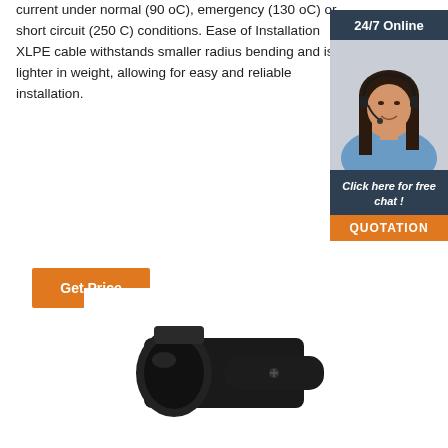current under normal (90 oC), emergency (130 oC) or short circuit (250 C) conditions. Ease of Installation XLPE cable withstands smaller radius bending and is lighter in weight, allowing for easy and reliable installation.
[Figure (other): Get Price button - orange rectangular button with white text]
[Figure (illustration): 24/7 Online chat widget with photo of woman wearing headset and dark navy background with orange QUOTATION button]
[Figure (photo): Black electrical cable connector/plug component, close-up product photo on white background]